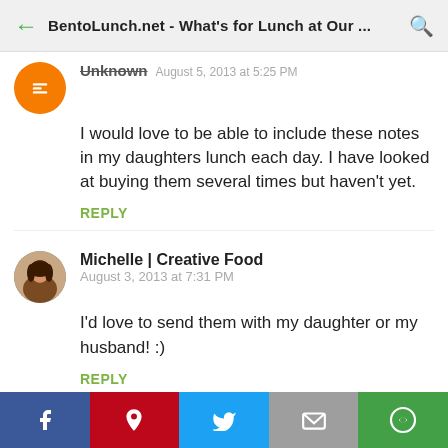BentoLunch.net - What's for Lunch at Our ...
Unknown  August 5, 2013 at 5:25 PM
I would love to be able to include these notes in my daughters lunch each day. I have looked at buying them several times but haven't yet.
REPLY
Michelle | Creative Food  August 3, 2013 at 7:31 PM
I'd love to send them with my daughter or my husband! :)
REPLY
Kimberly S  August 3, 2013 at 8:04 PM
Definitely my son, who is (or was) a picky